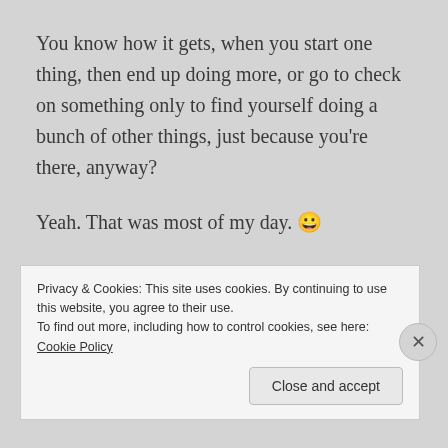You know how it gets, when you start one thing, then end up doing more, or go to check on something only to find yourself doing a bunch of other things, just because you're there, anyway?
Yeah. That was most of my day. 😀
One of those things happened while preparing to write my previous post, and I noticed some deer on the security camera, running up the driveway. I went to check on where they were going and, sure enough, one
Privacy & Cookies: This site uses cookies. By continuing to use this website, you agree to their use.
To find out more, including how to control cookies, see here: Cookie Policy